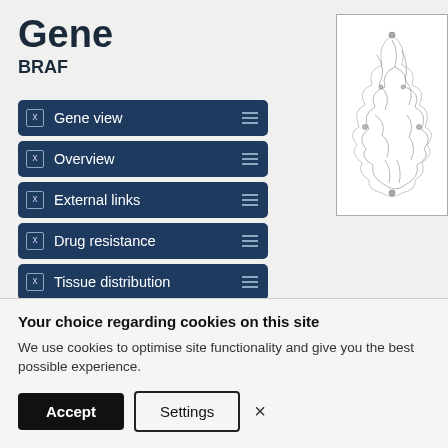Gene
BRAF
Gene view
Overview
External links
Drug resistance
Tissue distribution
Genome browser
Mutation distribution
[Figure (illustration): Protein structure illustration for BRAF gene, sketched molecular diagram in black and white]
Number of samples  327271
58063
Alternative transcripts  BRAF
BRAF
Your choice regarding cookies on this site
We use cookies to optimise site functionality and give you the best possible experience.
Accept  Settings  ×